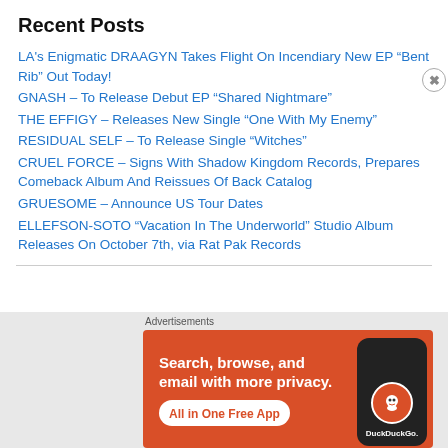Recent Posts
LA's Enigmatic DRAAGYN Takes Flight On Incendiary New EP “Bent Rib” Out Today!
GNASH – To Release Debut EP “Shared Nightmare”
THE EFFIGY – Releases New Single “One With My Enemy”
RESIDUAL SELF – To Release Single “Witches”
CRUEL FORCE – Signs With Shadow Kingdom Records, Prepares Comeback Album And Reissues Of Back Catalog
GRUESOME – Announce US Tour Dates
ELLEFSON-SOTO “Vacation In The Underworld” Studio Album Releases On October 7th, via Rat Pak Records
[Figure (infographic): DuckDuckGo advertisement banner with orange background showing text 'Search, browse, and email with more privacy. All in One Free App' with a phone mockup and DuckDuckGo logo.]